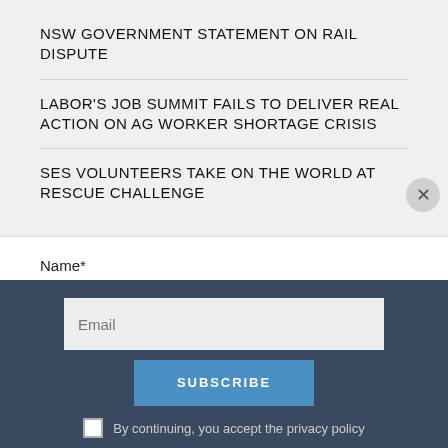NSW GOVERNMENT STATEMENT ON RAIL DISPUTE
LABOR'S JOB SUMMIT FAILS TO DELIVER REAL ACTION ON AG WORKER SHORTAGE CRISIS
SES VOLUNTEERS TAKE ON THE WORLD AT RESCUE CHALLENGE
Name*
Email*
Email (placeholder)
SUBSCRIBE
By continuing, you accept the privacy policy